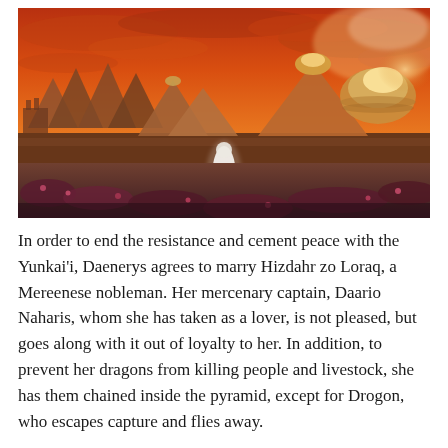[Figure (illustration): Fantasy illustration of a white-robed figure standing on a wall or ledge, gazing toward a dramatic landscape with pyramid-like structures and golden domed buildings under a fiery orange-red sky with swirling clouds. In the foreground, dark reddish-purple vegetation. The scene evokes Meereen from Game of Thrones / A Song of Ice and Fire.]
In order to end the resistance and cement peace with the Yunkai'i, Daenerys agrees to marry Hizdahr zo Loraq, a Mereenese nobleman. Her mercenary captain, Daario Naharis, whom she has taken as a lover, is not pleased, but goes along with it out of loyalty to her. In addition, to prevent her dragons from killing people and livestock, she has them chained inside the pyramid, except for Drogon, who escapes capture and flies away.